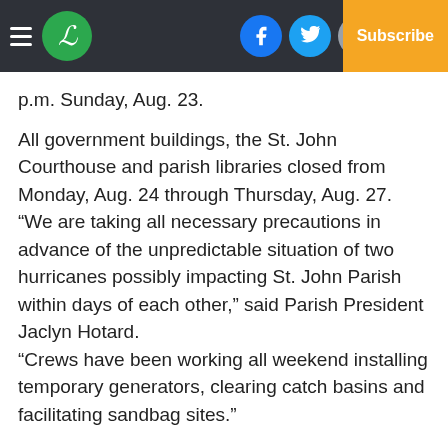Navigation bar with hamburger menu, L logo, Facebook, Twitter, Email icons, Log In, Subscribe
p.m. Sunday, Aug. 23.
All government buildings, the St. John Courthouse and parish libraries closed from Monday, Aug. 24 through Thursday, Aug. 27. “We are taking all necessary precautions in advance of the unpredictable situation of two hurricanes possibly impacting St. John Parish within days of each other,” said Parish President Jaclyn Hotard. “Crews have been working all weekend installing temporary generators, clearing catch basins and facilitating sandbag sites.”